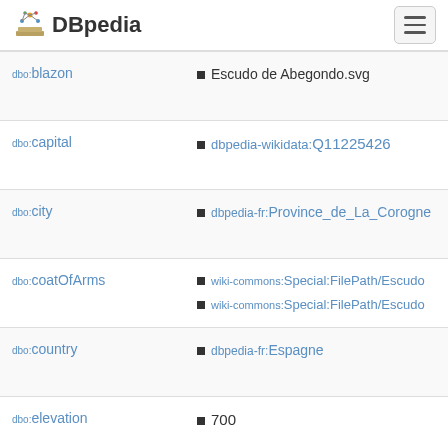DBpedia
| Property | Value |
| --- | --- |
| dbo:blazon | Escudo de Abegondo.svg |
| dbo:capital | dbpedia-wikidata:Q11225426 |
| dbo:city | dbpedia-fr:Province_de_La_Corogne |
| dbo:coatOfArms | wiki-commons:Special:FilePath/Escudo_
wiki-commons:Special:FilePath/Escudo_ |
| dbo:country | dbpedia-fr:Espagne |
| dbo:elevation | 700 |
| dbo:locatedInArea | dbpedia-fr:A_Coruña_(comarque) |
| dbo:personName | Abegondo |